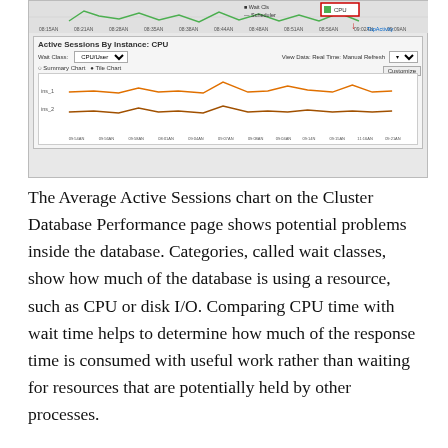[Figure (screenshot): Screenshot of Oracle Enterprise Manager showing Active Sessions By Instance: CPU panel with two instance lines (ins_1 and ins_2) plotted over time. There is a highlighted CPU legend item in a red box in the upper right, with an arrow pointing down to 'Top Activity'. The panel has a Wait Class selector set to CPU/User, View Data: Real Time: Manual Refresh option, and Summary Chart / Tile Chart radio buttons.]
The Average Active Sessions chart on the Cluster Database Performance page shows potential problems inside the database. Categories, called wait classes, show how much of the database is using a resource, such as CPU or disk I/O. Comparing CPU time with wait time helps to determine how much of the response time is consumed with useful work rather than waiting for resources that are potentially held by other processes.
At the cluster database level, this chart shows the aggregate wait class statistics across all the instance